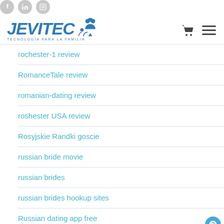JEVITEC – TECNOLOGÍA PARA LA FAMILIA (website header with social icons, logo, cart and menu)
rochester-1 review
RomanceTale review
romanian-dating review
roshester USA review
Rosyjskie Randki goscie
russian bride movie
russian brides
russian brides hookup sites
Russian dating app free